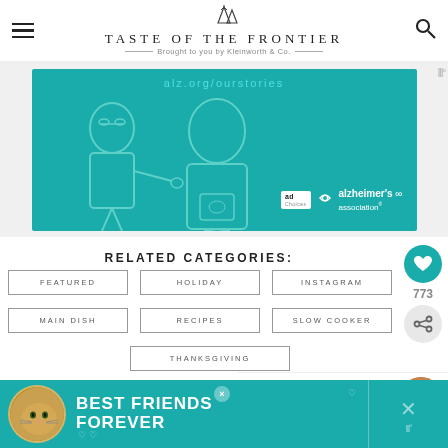TASTE OF THE FRONTIER — Brought to you by Kleinworth & Co.
[Figure (illustration): Alzheimer's Association advertisement banner with teal background showing illustrated figures and text 'alz.org/ourstories']
RELATED CATEGORIES:
FEATURED
HOLIDAY
INSTAGRAM
MAIN DISH
RECIPES
SLOW COOKER
THANKSGIVING
[Figure (illustration): What's Next promo showing Crock Pot Chicken... with food thumbnail image]
[Figure (illustration): Best Friends Forever advertisement banner at bottom with cat image and teal background]